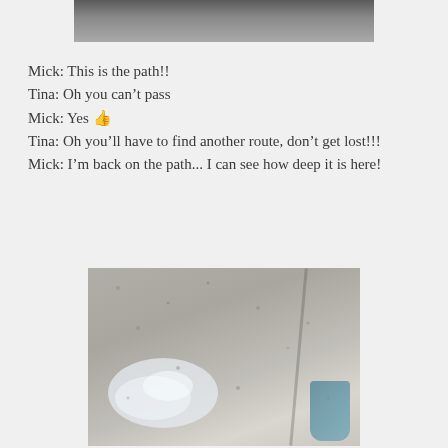[Figure (photo): Top portion of a photo showing a flooded or wet muddy path, partially visible at the top of the page.]
Mick: This is the path!!
Tina: Oh you can't pass
Mick: Yes 👍
Tina: Oh you'll have to find another route, don't get lost!!!
Mick: I'm back on the path... I can see how deep it is here!
[Figure (photo): Photo of a muddy path/ground with a large reflective puddle of water, showing how deep the flooding is. A boot or waterproof leg covering is partially visible on the right edge.]